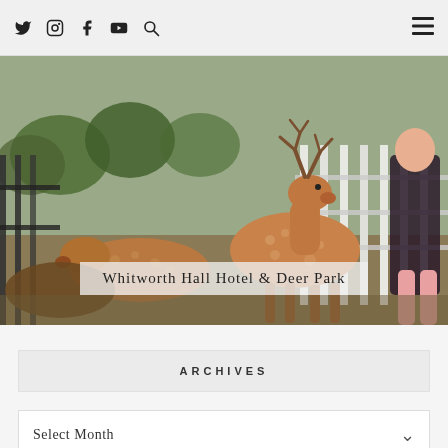Social icons (Twitter, Instagram, Facebook, YouTube, Search) and hamburger menu
[Figure (photo): Fallow deer resting near ornate iron fence/railings with a person standing in background. Sunny outdoor deer park setting with trees.]
Whitworth Hall Hotel & Deer Park
ARCHIVES
Select Month